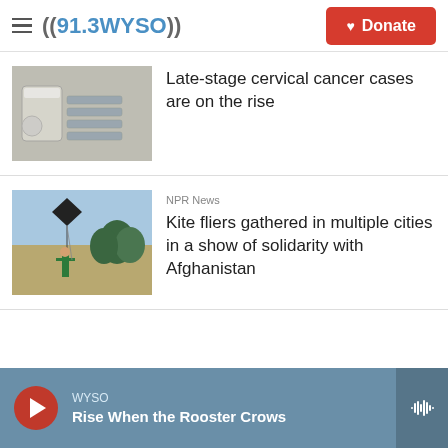((91.3 WYSO)) | Donate
[Figure (photo): Medical items including a specimen container and swabs on a table]
Late-stage cervical cancer cases are on the rise
[Figure (photo): Person flying a large black kite in an open field]
NPR News
Kite fliers gathered in multiple cities in a show of solidarity with Afghanistan
WYSO | Rise When the Rooster Crows